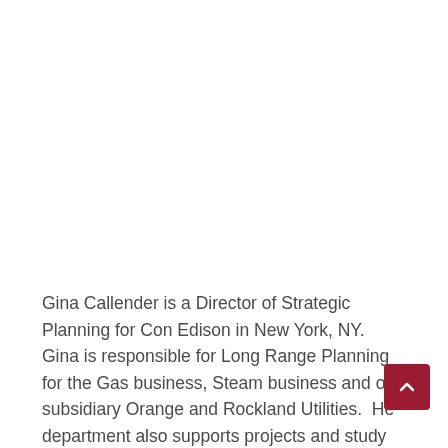Gina Callender is a Director of Strategic Planning for Con Edison in New York, NY.  Gina is responsible for Long Range Planning for the Gas business, Steam business and our subsidiary Orange and Rockland Utilities.  Her department also supports projects and study